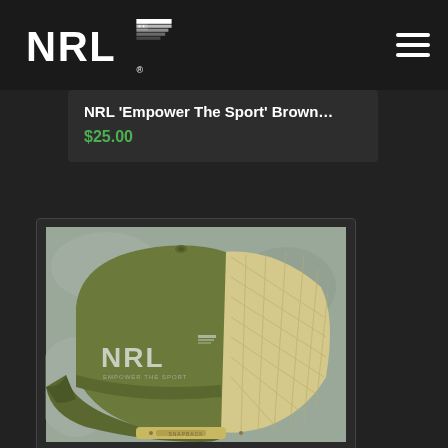NRL (logo with American flag)
NRL ‘Empower The Sport’ Brown…
$25.00
[Figure (photo): NRL olive green and khaki mesh snapback trucker hat with NRL logo embroidered on front panel, displayed against a grey background.]